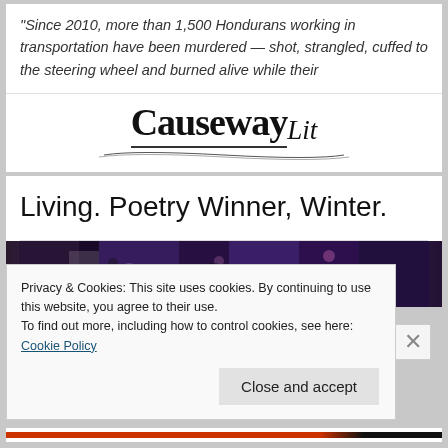“Since 2010, more than 1,500 Hondurans working in transportation have been murdered — shot, strangled, cuffed to the steering wheel and burned alive while their
[Figure (logo): Causeway Lit logo with stylized text and decorative underline]
Living. Poetry Winner, Winter.
[Figure (photo): Blurred crowd scene photo, dark tones with purple/blue hues suggesting a nighttime event]
Privacy & Cookies: This site uses cookies. By continuing to use this website, you agree to their use.
To find out more, including how to control cookies, see here: Cookie Policy
Close and accept